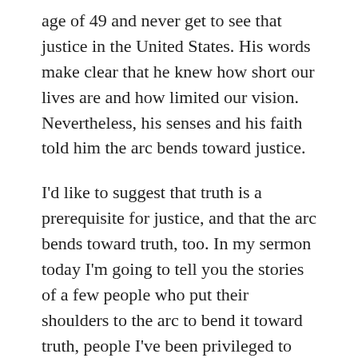age of 49 and never get to see that justice in the United States. His words make clear that he knew how short our lives are and how limited our vision. Nevertheless, his senses and his faith told him the arc bends toward justice.
I'd like to suggest that truth is a prerequisite for justice, and that the arc bends toward truth, too. In my sermon today I'm going to tell you the stories of a few people who put their shoulders to the arc to bend it toward truth, people I've been privileged to meet or to learn about in the last couple of years. Their stories may seem very different, but you will see eventually how they all weave together.
You'll meet some people who trusted for, on the...